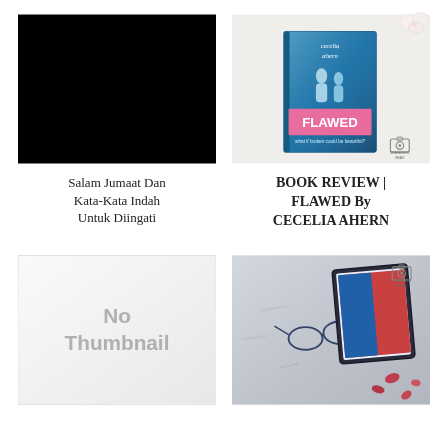[Figure (photo): Black solid image (dark/black background, no visible content)]
[Figure (photo): Book cover photo of 'FLAWED' by Cecelia Ahern, placed on white surface with small white flowers in background. Watermark camera icon visible bottom right.]
Salam Jumaat Dan Kata-Kata Indah Untuk Diingati
BOOK REVIEW | FLAWED By CECELIA AHERN
[Figure (photo): No Thumbnail placeholder image with light gray background and text 'No Thumbnail']
[Figure (photo): Photo of a book/tablet on gray fabric with rose petals and glasses. Watermark camera icon visible top right.]